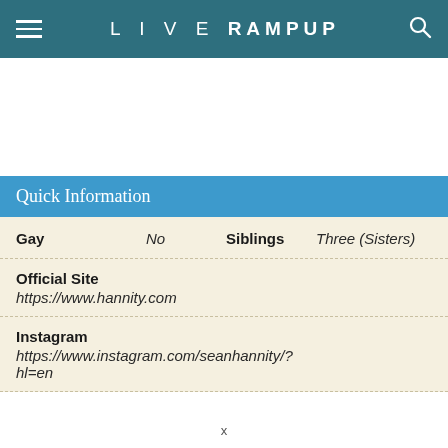LIVE RAMPUP
Quick Information
| Field | Value | Field | Value |
| --- | --- | --- | --- |
| Gay | No | Siblings | Three (Sisters) |
| Official Site | https://www.hannity.com |  |  |
| Instagram | https://www.instagram.com/seanhannity/?hl=en |  |  |
x